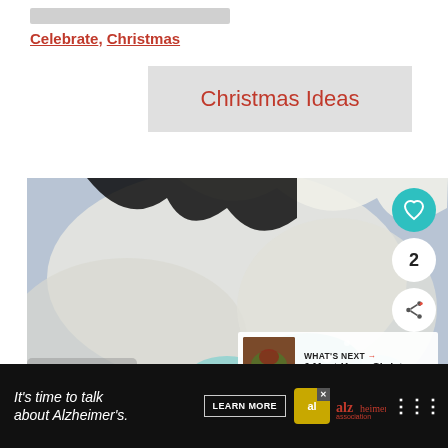Celebrate, Christmas
Christmas Ideas
[Figure (photo): Close-up photo of Christmas decorated cupcakes or cookies with white frosting, blue snowflake decorations, and pearl sugar sprinkles. A teal heart icon with number 2 and a share icon are overlaid. A 'What's Next' panel shows '6 Must-Know Christmas...']
It's time to talk about Alzheimer's.